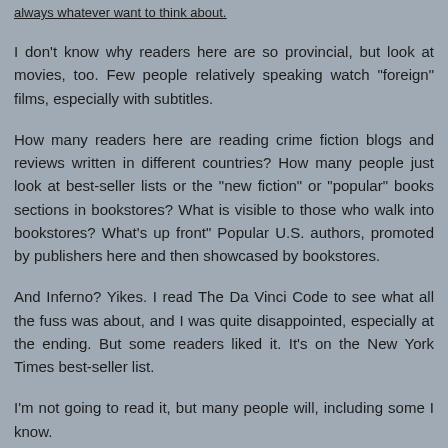always whatever want to think about.
I don't know why readers here are so provincial, but look at movies, too. Few people relatively speaking watch "foreign" films, especially with subtitles.
How many readers here are reading crime fiction blogs and reviews written in different countries? How many people just look at best-seller lists or the "new fiction" or "popular" books sections in bookstores? What is visible to those who walk into bookstores? What's up front" Popular U.S. authors, promoted by publishers here and then showcased by bookstores.
And Inferno? Yikes. I read The Da Vinci Code to see what all the fuss was about, and I was quite disappointed, especially at the ending. But some readers liked it. It's on the New York Times best-seller list.
I'm not going to read it, but many people will, including some I know.
Reply